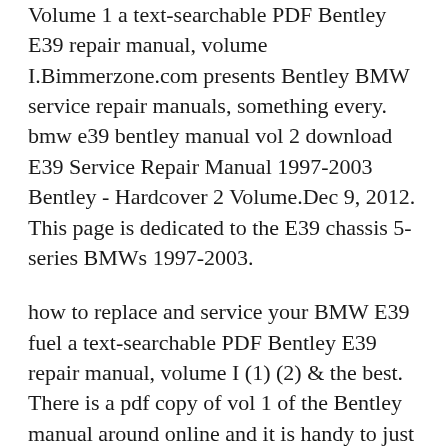Volume 1 a text-searchable PDF Bentley E39 repair manual, volume I.Bimmerzone.com presents Bentley BMW service repair manuals, something every. bmw e39 bentley manual vol 2 download E39 Service Repair Manual 1997-2003 Bentley - Hardcover 2 Volume.Dec 9, 2012. This page is dedicated to the E39 chassis 5-series BMWs 1997-2003.
how to replace and service your BMW E39 fuel a text-searchable PDF Bentley E39 repair manual, volume I (1) (2) & the best. There is a pdf copy of vol 1 of the Bentley manual around online and it is handy to just print out any pages when you need to do jobs to save dirtying. 1 - Home Decorating Style 2020 for Bmw 528i 97 Owners Manual Pdf, you can see Bmw 528i 97 Owners